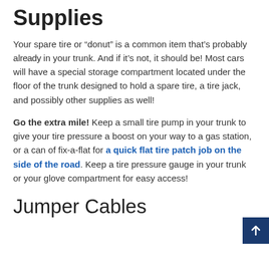Supplies
Your spare tire or “donut” is a common item that’s probably already in your trunk. And if it’s not, it should be! Most cars will have a special storage compartment located under the floor of the trunk designed to hold a spare tire, a tire jack, and possibly other supplies as well!
Go the extra mile! Keep a small tire pump in your trunk to give your tire pressure a boost on your way to a gas station, or a can of fix-a-flat for a quick flat tire patch job on the side of the road. Keep a tire pressure gauge in your trunk or your glove compartment for easy access!
Jumper Cables